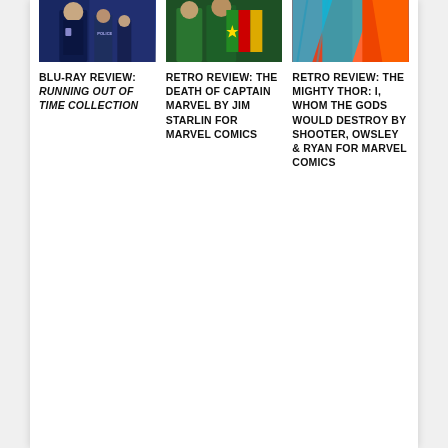[Figure (photo): Photo of a person in dark police/formal attire with others in background]
[Figure (photo): Photo of people with green jackets and a flag with red/yellow/green colors]
[Figure (photo): Photo showing colorful fabric/costume in red, orange, teal colors]
BLU-RAY REVIEW: RUNNING OUT OF TIME COLLECTION
RETRO REVIEW: THE DEATH OF CAPTAIN MARVEL BY JIM STARLIN FOR MARVEL COMICS
RETRO REVIEW: THE MIGHTY THOR: I, WHOM THE GODS WOULD DESTROY BY SHOOTER, OWSLEY & RYAN FOR MARVEL COMICS